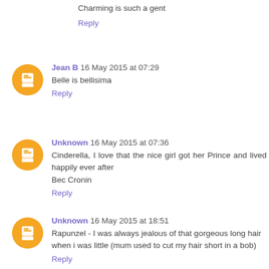Charming is such a gent
Reply
Jean B  16 May 2015 at 07:29
Belle is bellisima
Reply
Unknown  16 May 2015 at 07:36
Cinderella, I love that the nice girl got her Prince and lived happily ever after
Bec Cronin
Reply
Unknown  16 May 2015 at 18:51
Rapunzel - I was always jealous of that gorgeous long hair when i was little (mum used to cut my hair short in a bob)
Reply